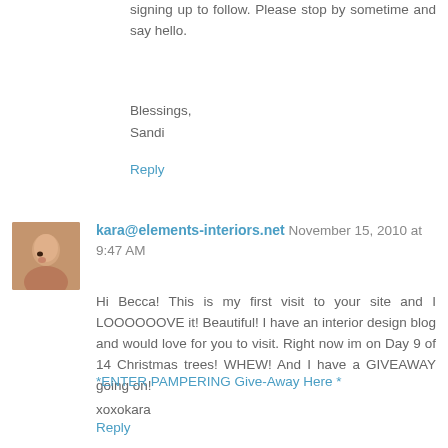signing up to follow. Please stop by sometime and say hello.
Blessings,
Sandi
Reply
kara@elements-interiors.net November 15, 2010 at 9:47 AM
Hi Becca! This is my first visit to your site and I LOOOOOOVE it! Beautiful! I have an interior design blog and would love for you to visit. Right now im on Day 9 of 14 Christmas trees! WHEW! And I have a GIVEAWAY going on!
*ENTER PAMPERING Give-Away Here *
xoxokara
Reply